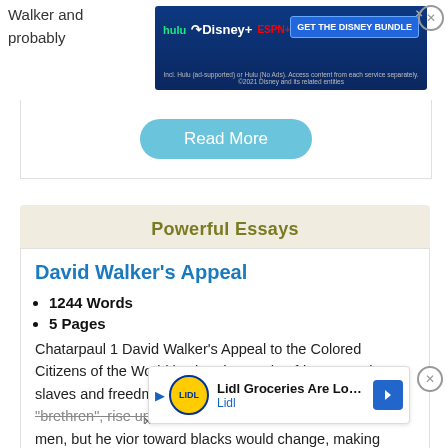Walker and probably
[Figure (screenshot): Disney Bundle advertisement banner with Hulu, Disney+, ESPN+ logos and GET THE DISNEY BUNDLE button]
[Figure (screenshot): Read More button in teal/blue rounded rectangle]
Powerful Essays
David Walker's Appeal
1244 Words
5 Pages
Chatarpaul 1 David Walker's Appeal to the Colored Citizens of the World is aimed towards African-American slaves and freedmen. His goal was to have all his "brethren", rise up and fight against slaveholders and farmers, but he believed that behavior toward blacks would change, making vengeance
[Figure (screenshot): Lidl Groceries Are Low-Priced advertisement banner with Lidl logo]